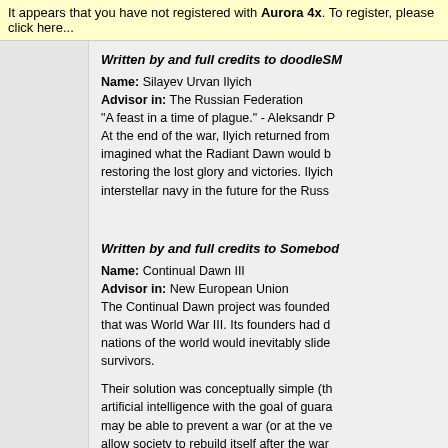It appears that you have not registered with Aurora 4x. To register, please click here...
Written by and full credits to doodleSM
Name: Silayev Urvan Ilyich
Advisor in: The Russian Federation
"A feast in a time of plague." - Aleksandr P
At the end of the war, Ilyich returned from imagined what the Radiant Dawn would b restoring the lost glory and victories. Ilyich interstellar navy in the future for the Russ
Written by and full credits to Somebod
Name: Continual Dawn III
Advisor in: New European Union
The Continual Dawn project was founded that was World War III. Its founders had d nations of the world would inevitably slide survivors.

Their solution was conceptually simple (th artificial intelligence with the goal of gara may be able to prevent a war (or at the ve allow society to rebuild itself after the war